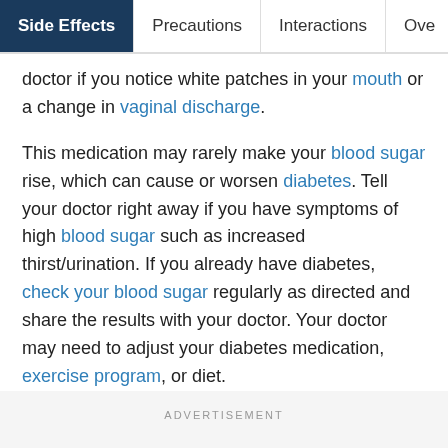Side Effects | Precautions | Interactions | Ove...
doctor if you notice white patches in your mouth or a change in vaginal discharge.
This medication may rarely make your blood sugar rise, which can cause or worsen diabetes. Tell your doctor right away if you have symptoms of high blood sugar such as increased thirst/urination. If you already have diabetes, check your blood sugar regularly as directed and share the results with your doctor. Your doctor may need to adjust your diabetes medication, exercise program, or diet.
ADVERTISEMENT